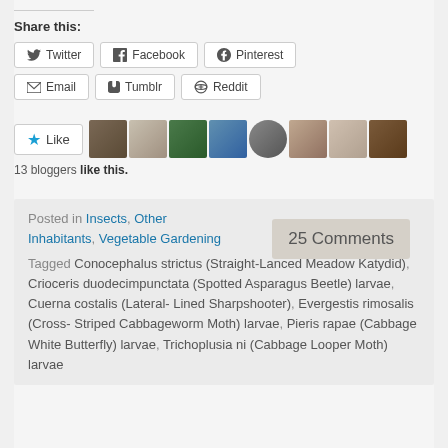Share this:
Twitter
Facebook
Pinterest
Email
Tumblr
Reddit
Like
13 bloggers like this.
Posted in Insects, Other Inhabitants, Vegetable Gardening
25 Comments
Tagged Conocephalus strictus (Straight-Lanced Meadow Katydid), Crioceris duodecimpunctata (Spotted Asparagus Beetle) larvae, Cuerna costalis (Lateral-Lined Sharpshooter), Evergestis rimosalis (Cross-Striped Cabbageworm Moth) larvae, Pieris rapae (Cabbage White Butterfly) larvae, Trichoplusia ni (Cabbage Looper Moth) larvae